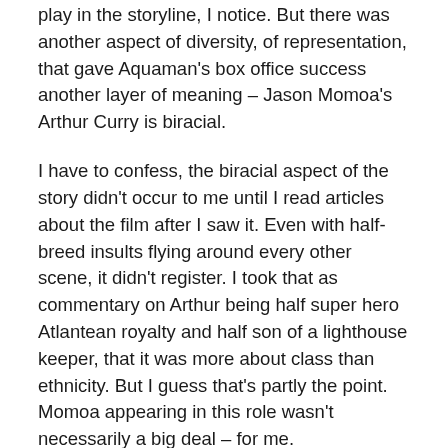play in the storyline, I notice. But there was another aspect of diversity, of representation, that gave Aquaman's box office success another layer of meaning – Jason Momoa's Arthur Curry is biracial.
I have to confess, the biracial aspect of the story didn't occur to me until I read articles about the film after I saw it. Even with half-breed insults flying around every other scene, it didn't register. I took that as commentary on Arthur being half super hero Atlantean royalty and half son of a lighthouse keeper, that it was more about class than ethnicity. But I guess that's partly the point. Momoa appearing in this role wasn't necessarily a big deal – for me.
For Native Americans, on the other hand, for native Hawaiians and those of Maori descent, for the biracial fans who saw his larger than life character replace the blond, blue-eyed Aquaman first created in 1941 – they